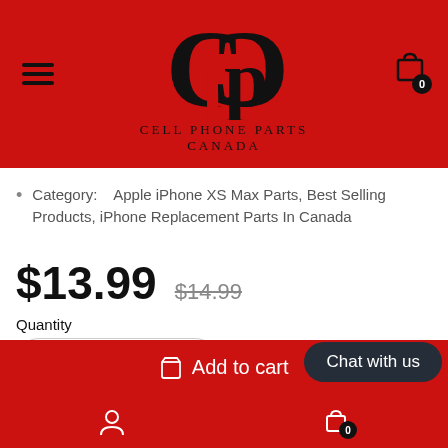Cell Phone Parts Canada
Category: Apple iPhone XS Max Parts, Best Selling Products, iPhone Replacement Parts In Canada
$13.99  $14.99
Quantity
1  +  -
Add to cart
Chat with us